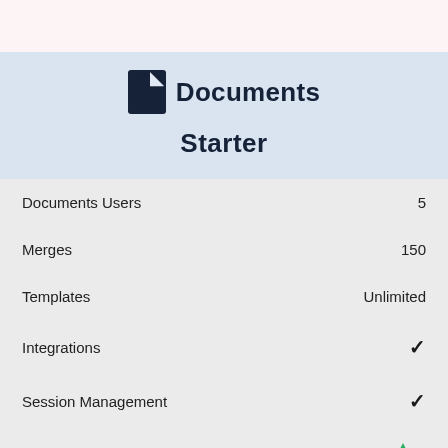Documents
Starter
| Feature | Value |
| --- | --- |
| Documents Users | 5 |
| Merges | 150 |
| Templates | Unlimited |
| Integrations | ✓ |
| Session Management | ✓ |
| Data Routing | (upgrade icon) |